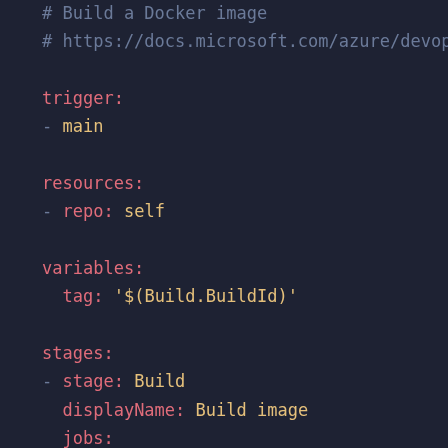# Build a Docker image
# https://docs.microsoft.com/azure/devops

trigger:
- main

resources:
- repo: self

variables:
  tag: '$(Build.BuildId)'

stages:
- stage: Build
  displayName: Build image
  jobs:
  - job: Build